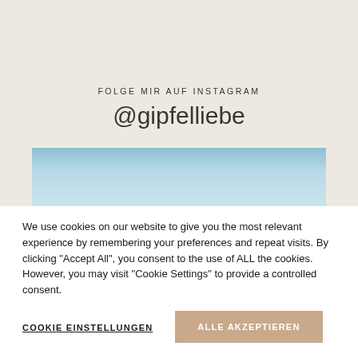FOLGE MIR AUF INSTAGRAM
@gipfelliebe
[Figure (photo): Sky gradient image strip, light blue tones]
We use cookies on our website to give you the most relevant experience by remembering your preferences and repeat visits. By clicking "Accept All", you consent to the use of ALL the cookies. However, you may visit "Cookie Settings" to provide a controlled consent.
COOKIE EINSTELLUNGEN
ALLE AKZEPTIEREN